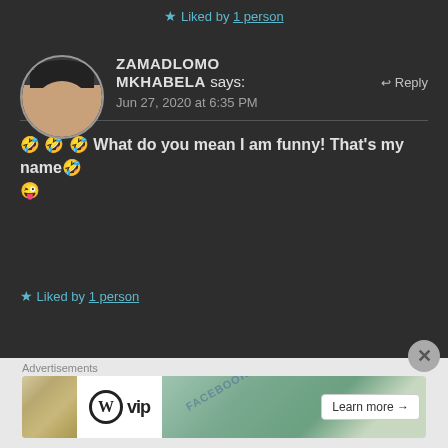★ Liked by 1 person
ZAMADLOMO MKHABELA says: Jun 27, 2020 at 6:35 PM
↩ Reply
🤣🤣🤣 What do you mean I am funny! That's my name🤣😜
★ Liked by 1 person
Advertisements
[Figure (logo): WordPress VIP logo with map background and Learn more button advertisement]